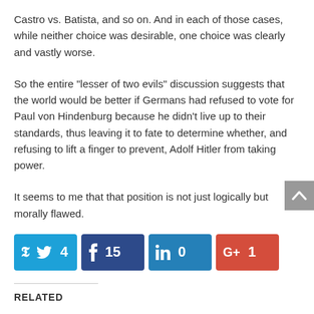Castro vs. Batista, and so on. And in each of those cases, while neither choice was desirable, one choice was clearly and vastly worse.
So the entire “lesser of two evils” discussion suggests that the world would be better if Germans had refused to vote for Paul von Hindenburg because he didn’t live up to their standards, thus leaving it to fate to determine whether, and refusing to lift a finger to prevent, Adolf Hitler from taking power.
It seems to me that that position is not just logically but morally flawed.
[Figure (infographic): Social sharing buttons showing Twitter (4 shares), Facebook (15 shares), LinkedIn (0 shares), Google+ (1 share)]
RELATED